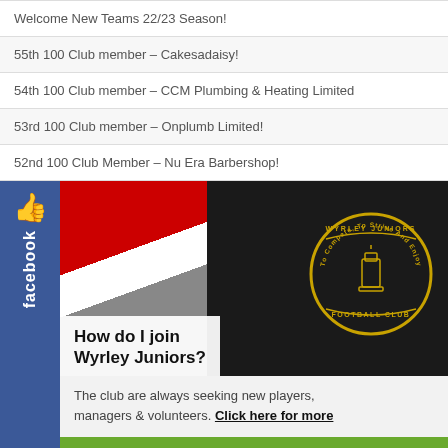Welcome New Teams 22/23 Season!
55th 100 Club member – Cakesadaisy!
54th 100 Club member – CCM Plumbing & Heating Limited
53rd 100 Club member – Onplumb Limited!
52nd 100 Club Member – Nu Era Barbershop!
[Figure (photo): Facebook thumbs up like button sidebar (blue background with white thumb icon and 'facebook' text rotated vertically)]
[Figure (photo): Wyrley Juniors Football Club jacket with red/white/black colors and gold club badge crest]
How do I join Wyrley Juniors?
The club are always seeking new players, managers & volunteers. Click here for more
Get into Football
FA affiliated coaching & playing schemes